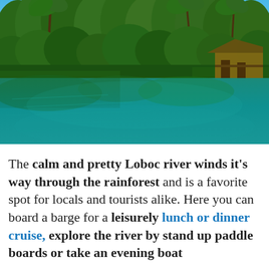[Figure (photo): A calm tropical river with lush green rainforest trees and palm trees lining the banks, reflecting in the still teal-green water. A wooden structure/house is visible on the right bank under blue sky.]
The calm and pretty Loboc river winds it's way through the rainforest and is a favorite spot for locals and tourists alike. Here you can board a barge for a leisurely lunch or dinner cruise, explore the river by stand up paddle boards or take an evening boat